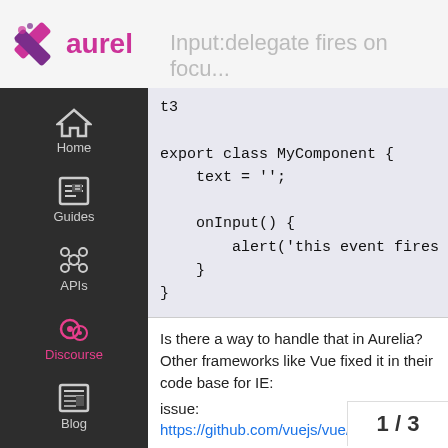Input:delegate fires on focu...
[Figure (logo): Aurel logo with pink/purple X graphic and 'aurel' text in pink]
export class MyComponent {
    text = '';

    onInput() {
        alert('this event fires in i
    }
}
Is there a way to handle that in Aurelia? Other frameworks like Vue fixed it in their code base for IE:
issue: https://github.com/vuejs/vue/issues/7138
1
fix:
https://github.com/vuejs/vue...a800204bc2e00876365869ee7...